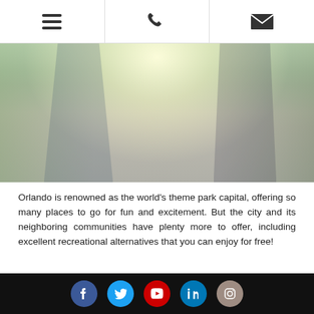[hamburger menu icon] [phone icon] [envelope icon]
[Figure (photo): Outdoor photo of a family walking together on a sidewalk in a suburban neighborhood, backlit by bright sunlight, with trees and a parked car visible in the background.]
Orlando is renowned as the world's theme park capital, offering so many places to go for fun and excitement. But the city and its neighboring communities have plenty more to offer, including excellent recreational alternatives that you can enjoy for free!
[Facebook] [Twitter] [YouTube] [LinkedIn] [Instagram]